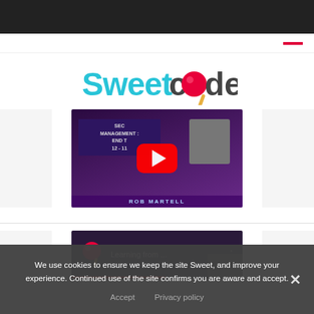[Figure (screenshot): SweetCode website screenshot showing logo, two YouTube video thumbnails, and a cookie consent overlay banner]
We use cookies to ensure we keep the site Sweet, and improve your experience. Continued use of the site confirms you are aware and accept.
Accept   Privacy policy